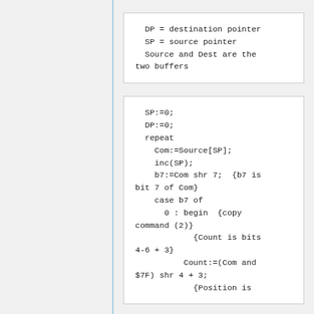DP = destination pointer
  SP = source pointer
  Source and Dest are the two buffers
SP:=0;
  DP:=0;
  repeat
    Com:=Source[SP];
    inc(SP);
    b7:=Com shr 7;  {b7 is bit 7 of Com}
    case b7 of
      0 : begin  {copy command (2)}
            {Count is bits 4-6 + 3}
          Count:=(Com and $7F) shr 4 + 3;
            {Position is